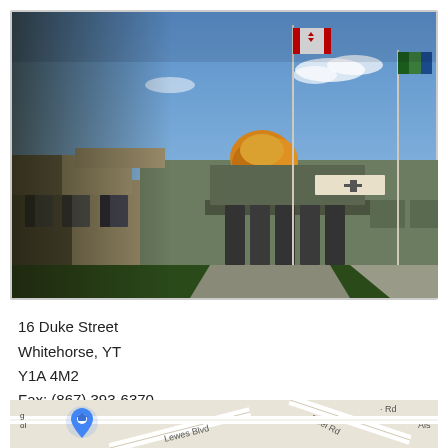[Figure (photo): Exterior photo of a school building with two flagpoles flying the Canadian flag and a Yukon territorial flag, autumn trees visible, blue sky with clouds, green lawn in foreground.]
16 Duke Street
Whitehorse, YT
Y1A 4M2
Fax: (867) 393-6370
[Figure (map): Partial Google Maps view showing streets including Lewes Blvd and Peel Rd near school location, with a school map pin icon visible on the left.]